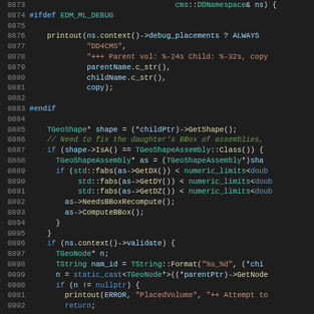[Figure (screenshot): Source code listing in a dark-themed code editor, lines 0873-0902, C++ code involving DDNamespace, printout, TGeoShape, TGeoShapeAssembly, BBox, and validation logic.]